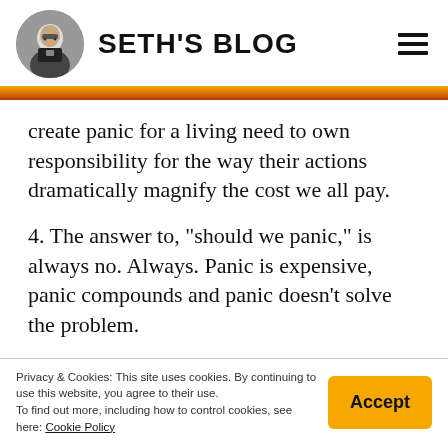SETH'S BLOG
create panic for a living need to own responsibility for the way their actions dramatically magnify the cost we all pay.
4. The answer to, "should we panic," is always no. Always. Panic is expensive, panic compounds and panic doesn't solve the problem.
Privacy & Cookies: This site uses cookies. By continuing to use this website, you agree to their use. To find out more, including how to control cookies, see here: Cookie Policy